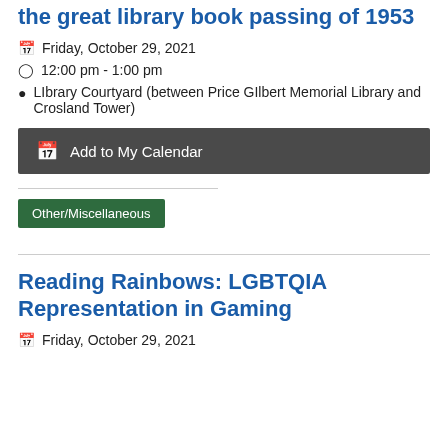the great library book passing of 1953
Friday, October 29, 2021
12:00 pm - 1:00 pm
LIbrary Courtyard (between Price GIlbert Memorial Library and Crosland Tower)
Add to My Calendar
Other/Miscellaneous
Reading Rainbows: LGBTQIA Representation in Gaming
Friday, October 29, 2021